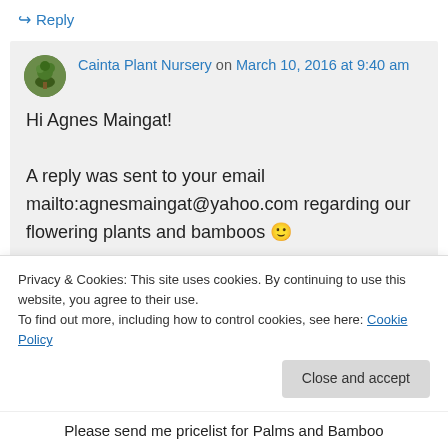↪ Reply
Cainta Plant Nursery on March 10, 2016 at 9:40 am
Hi Agnes Maingat!

A reply was sent to your email mailto:agnesmaingat@yahoo.com regarding our flowering plants and bamboos 🙂
Privacy & Cookies: This site uses cookies. By continuing to use this website, you agree to their use.
To find out more, including how to control cookies, see here: Cookie Policy
Close and accept
Please send me pricelist for Palms and Bamboo